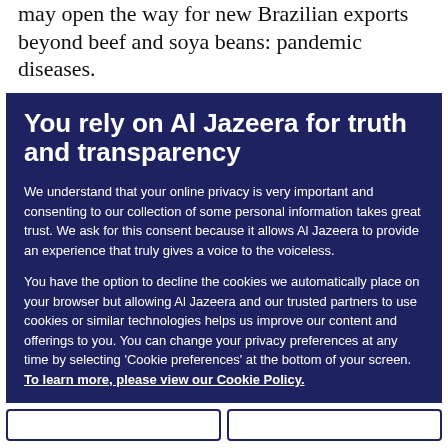may open the way for new Brazilian exports beyond beef and soya beans: pandemic diseases.
You rely on Al Jazeera for truth and transparency
We understand that your online privacy is very important and consenting to our collection of some personal information takes great trust. We ask for this consent because it allows Al Jazeera to provide an experience that truly gives a voice to the voiceless.
You have the option to decline the cookies we automatically place on your browser but allowing Al Jazeera and our trusted partners to use cookies or similar technologies helps us improve our content and offerings to you. You can change your privacy preferences at any time by selecting 'Cookie preferences' at the bottom of your screen. To learn more, please view our Cookie Policy.